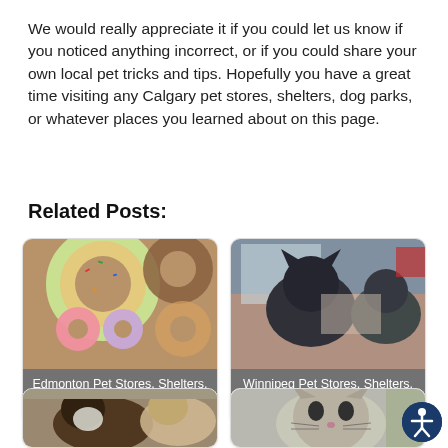We would really appreciate it if you could let us know if you noticed anything incorrect, or if you could share your own local pet tricks and tips. Hopefully you have a great time visiting any Calgary pet stores, shelters, dog parks, or whatever places you learned about on this page.
Related Posts:
[Figure (photo): Card with photo of donuts/dog treats with overlay text: Edmonton Pet Stores, Shelters, Dog Parks & More]
[Figure (photo): Card with photo of a cat and dog with overlay text: Winnipeg Pet Stores, Shelters, Dog Parks & More]
[Figure (photo): Card with photo of dogs, partially visible]
[Figure (photo): Card with photo of a cat, partially visible]